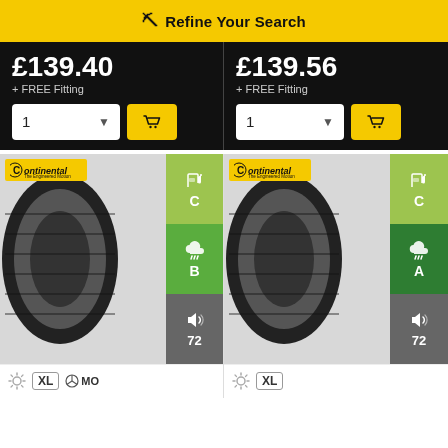≡ Refine Your Search
£139.40
+ FREE Fitting
£139.56
+ FREE Fitting
[Figure (photo): Continental tyre product card with fuel efficiency rating C, wet grip rating B, noise rating 72. Badges: sun/summer, XL, Mercedes MO.]
[Figure (photo): Continental tyre product card with fuel efficiency rating C, wet grip rating A, noise rating 72. Badges: sun/summer, XL.]